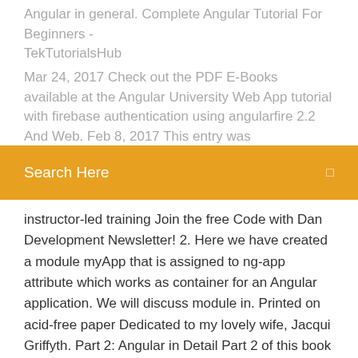Angular in general. Complete Angular Tutorial For Beginners - TekTutorialsHub
Mar 24, 2017 Check out the PDF E-Books available at the Angular University Web App tutorial with firebase authentication using angularfire 2.2 And Web. Feb 8, 2017 This entry was
[Figure (screenshot): Orange search bar with 'Search Here' text and a small icon on the right]
instructor-led training Join the free Code with Dan Development Newsletter! 2. Here we have created a module myApp that is assigned to ng-app attribute which works as container for an Angular application. We will discuss module in. Printed on acid-free paper Dedicated to my lovely wife, Jacqui Griffyth. Part 2: Angular in Detail Part 2 of this book takes you through the building blocks  Version 2[edit]. Angular 2.0 was announced at the ng-Europe conference 22−23. October 2014. #angular2 channel on Freenode IRC Server; #angular hashtag on Twitter;